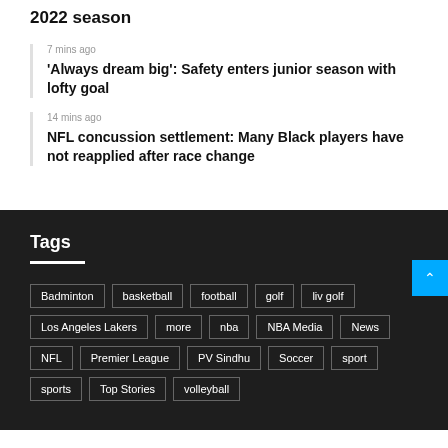2022 season
7 mins ago — 'Always dream big': Safety enters junior season with lofty goal
14 mins ago — NFL concussion settlement: Many Black players have not reapplied after race change
Tags
Badminton
basketball
football
golf
liv golf
Los Angeles Lakers
more
nba
NBA Media
News
NFL
Premier League
PV Sindhu
Soccer
sport
sports
Top Stories
volleyball